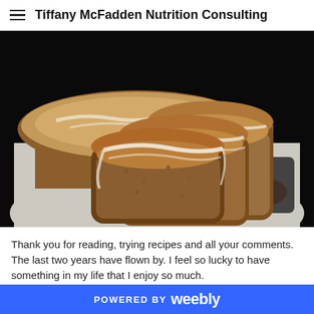Tiffany McFadden Nutrition Consulting
[Figure (photo): Sliced glazed loaf bread on a white cutting board against a dark background. The bread is golden-brown with white icing/glaze drizzled over the slices.]
Thank you for reading, trying recipes and all your comments. The last two years have flown by. I feel so lucky to have something in my life that I enjoy so much.
POWERED BY weebly